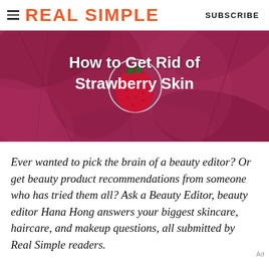REAL SIMPLE  SUBSCRIBE
[Figure (photo): Hero image of a strawberry on pink flower petals with white bold text overlay reading 'How to Get Rid of Strawberry Skin']
How to Get Rid of Strawberry Skin
Ever wanted to pick the brain of a beauty editor? Or get beauty product recommendations from someone who has tried them all? Ask a Beauty Editor, beauty editor Hana Hong answers your biggest skincare, haircare, and makeup questions, all submitted by Real Simple readers.